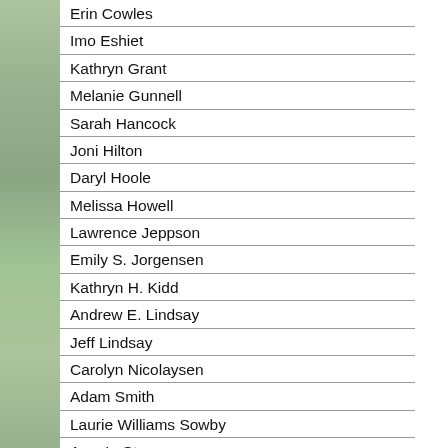Erin Cowles
Imo Eshiet
Kathryn Grant
Melanie Gunnell
Sarah Hancock
Joni Hilton
Daryl Hoole
Melissa Howell
Lawrence Jeppson
Emily S. Jorgensen
Kathryn H. Kidd
Andrew E. Lindsay
Jeff Lindsay
Carolyn Nicolaysen
Adam Smith
Laurie Williams Sowby
Amy L. Stevenson
Marian Stoddard
Janae Stubbs
Cyndie Swindlehurst
Vickey Pahnke Taylor
Dian Thomas
Nauvoo Times Guest
heater. I immediately went to work via members of my family with it. The killjo company. As if protesting that my frien from zapping me, the energy company and burned a yawning hole in my pock
With the onset of spring my neighborh drooping and drowsing like the neck o renewing its face. With beautiful flowe the environment seems to be sprucing preparing for a job interview or a date.
The happy turn of the climate and the rekindle enlivening memories of Easte
Since its early contact with the West, C remarkable cultural events. The first M by the Roman Catholic Church was he Bocco Street. Since then the city has b religious and cultural organizations.
Significantly, the first Institute of Religi Jesus Christ of Latter-Day Saints in W Calabar when I was district president i